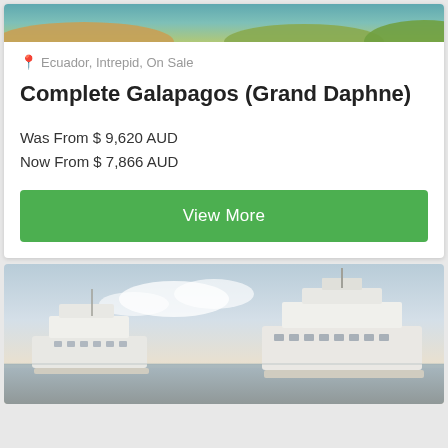[Figure (photo): Aerial view of coastline with turquoise water and green vegetation, partially visible at top of card]
Ecuador, Intrepid, On Sale
Complete Galapagos (Grand Daphne)
Was From $ 9,620 AUD
Now From $ 7,866 AUD
View More
[Figure (photo): Two white cruise ships on calm water at dusk or dawn with sky and clouds in background]